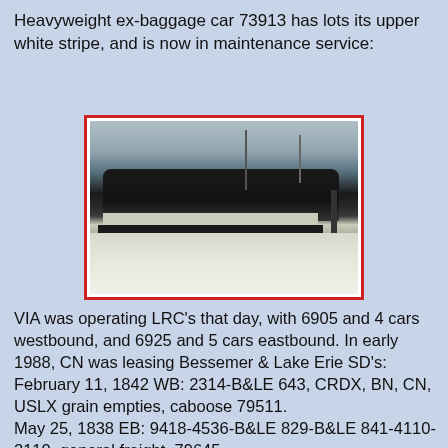Heavyweight ex-baggage car 73913 has lots its upper white stripe, and is now in maintenance service:
[Figure (photo): Black and white photograph of a heavyweight ex-baggage car (train car 73913) in a snowy environment. The train is dark colored with a light stripe, set against a pale winter sky with utility poles visible. Snow covers the ground.]
VIA was operating LRC's that day, with 6905 and 4 cars westbound, and 6925 and 5 cars eastbound. In early 1988, CN was leasing Bessemer & Lake Erie SD's:
February 11, 1842 WB: 2314-B&LE 643, CRDX, BN, CN, USLX grain empties, caboose 79511.
May 25, 1838 EB: 9418-4536-B&LE 829-B&LE 841-4110-2110, general freight, 79645.
Another down-at-the-heels ex-baggage car, 70740 is seen in Belleville in December, 2001, with most of its black stripe